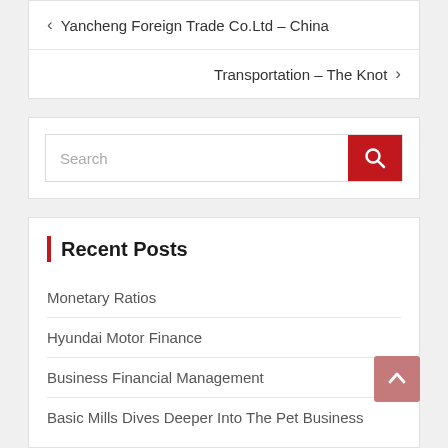‹ Yancheng Foreign Trade Co.Ltd – China
Transportation – The Knot ›
Search
Recent Posts
Monetary Ratios
Hyundai Motor Finance
Business Financial Management
Basic Mills Dives Deeper Into The Pet Business